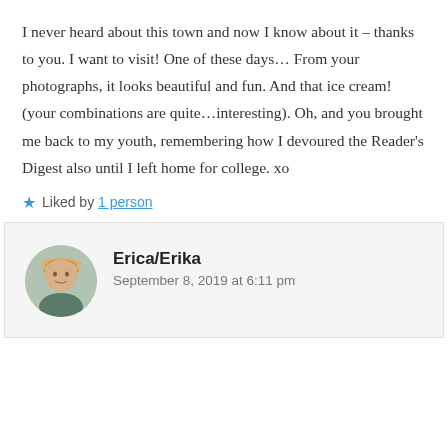I never heard about this town and now I know about it – thanks to you. I want to visit! One of these days… From your photographs, it looks beautiful and fun. And that ice cream! (your combinations are quite…interesting). Oh, and you brought me back to my youth, remembering how I devoured the Reader's Digest also until I left home for college. xo
Liked by 1 person
Erica/Erika
September 8, 2019 at 6:11 pm